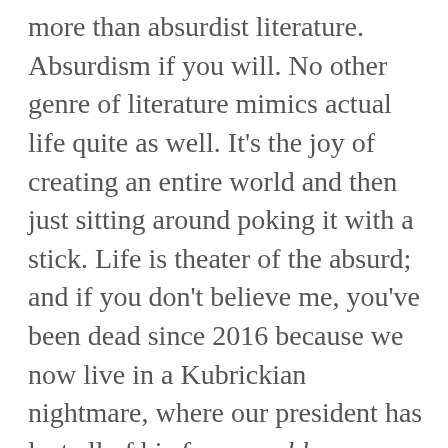more than absurdist literature. Absurdism if you will. No other genre of literature mimics actual life quite as well. It's the joy of creating an entire world and then just sitting around poking it with a stick. Life is theater of the absurd; and if you don't believe me, you've been dead since 2016 because we now live in a Kubrickian nightmare, where our president has lost all of his fuzzy warbles. Nothing in life is certain except death, taxes, and absurdity.